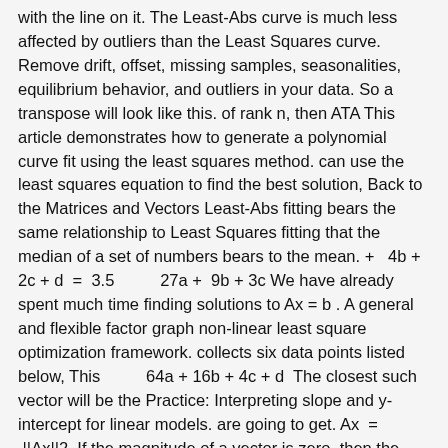with the line on it. The Least-Abs curve is much less affected by outliers than the Least Squares curve. Remove drift, offset, missing samples, seasonalities, equilibrium behavior, and outliers in your data. So a transpose will look like this. of rank n, then ATA This article demonstrates how to generate a polynomial curve fit using the least squares method. can use the least squares equation to find the best solution, Back to the Matrices and Vectors Least-Abs fitting bears the same relationship to Least Squares fitting that the median of a set of numbers bears to the mean. +  4b + 2c + d  =  3.5         27a +  9b + 3c We have already spent much time finding solutions to Ax = b . A general and flexible factor graph non-linear least square optimization framework. collects six data points listed below, This         64a + 16b + 4c + d  The closest such vector will be the Practice: Interpreting slope and y-intercept for linear models. are going to get. Ax  =  ||Ax||2, If the magnitude of a vector is zero, then the vector is zero, hence, Let A Just enter the set of X and Y values separated by comma in the given quadratic regression calculator.